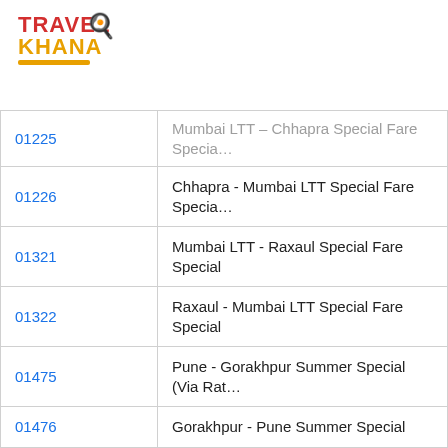[Figure (logo): TravelKhana logo with chef hat icon, red 'TRAVEL' text and orange 'KHANA' text with orange underline]
| Train No. | Train Name |
| --- | --- |
| 01225 | Mumbai LTT – Chhapra Special Fare Specia… |
| 01226 | Chhapra - Mumbai LTT Special Fare Specia… |
| 01321 | Mumbai LTT - Raxaul Special Fare Special |
| 01322 | Raxaul - Mumbai LTT Special Fare Special |
| 01475 | Pune - Gorakhpur Summer Special (Via Rat… |
| 01476 | Gorakhpur - Pune Summer Special |
| 01477XX | Pune - Jaipur SpecialFare AC Special |
| 01478XX | Jaipur - Pune SpecialFare AC special |
| 0156 | Panvel - Lucknow Jn. One Way Special |
| 02059 | Kota - Hazrat Nizamuddin Jan Shatabdi Sp… |